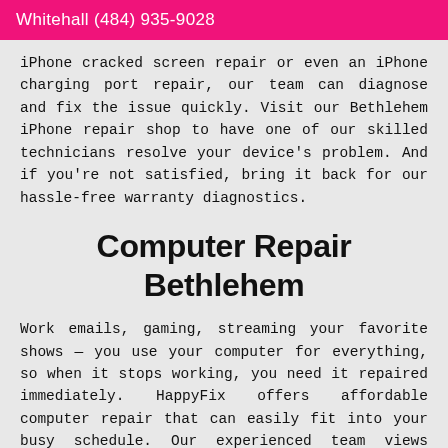Whitehall (484) 935-9028
iPhone cracked screen repair or even an iPhone charging port repair, our team can diagnose and fix the issue quickly. Visit our Bethlehem iPhone repair shop to have one of our skilled technicians resolve your device's problem. And if you're not satisfied, bring it back for our hassle-free warranty diagnostics.
Computer Repair Bethlehem
Work emails, gaming, streaming your favorite shows — you use your computer for everything, so when it stops working, you need it repaired immediately. HappyFix offers affordable computer repair that can easily fit into your busy schedule. Our experienced team views every